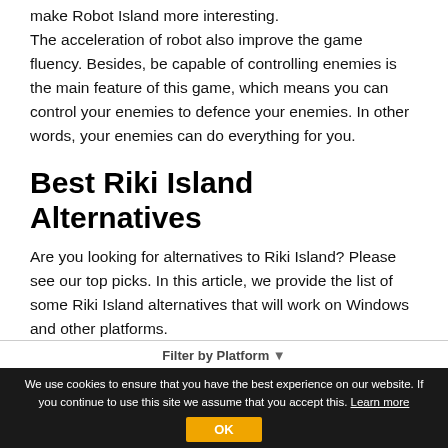make Robot Island more interesting. The acceleration of robot also improve the game fluency. Besides, be capable of controlling enemies is the main feature of this game, which means you can control your enemies to defence your enemies. In other words, your enemies can do everything for you.
Best Riki Island Alternatives
Are you looking for alternatives to Riki Island? Please see our top picks. In this article, we provide the list of some Riki Island alternatives that will work on Windows and other platforms.
Filter by Platform ▼
We use cookies to ensure that you have the best experience on our website. If you continue to use this site we assume that you accept this. Learn more